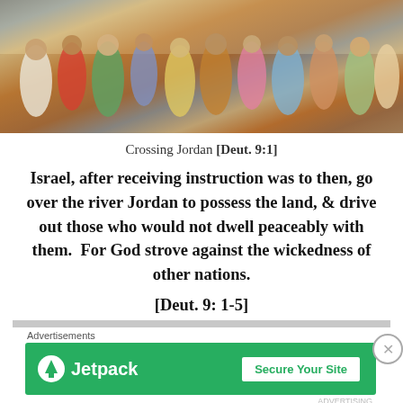[Figure (illustration): Colorful illustration of a crowd of biblical figures crossing the Jordan River, wearing robes in various colors.]
Crossing Jordan [Deut. 9:1]
Israel, after receiving instruction was to then, go over the river Jordan to possess the land, & drive out those who would not dwell peaceably with them.  For God strove against the wickedness of other nations.
[Deut. 9: 1-5]
Advertisements
[Figure (screenshot): Jetpack advertisement banner with 'Secure Your Site' button on green background.]